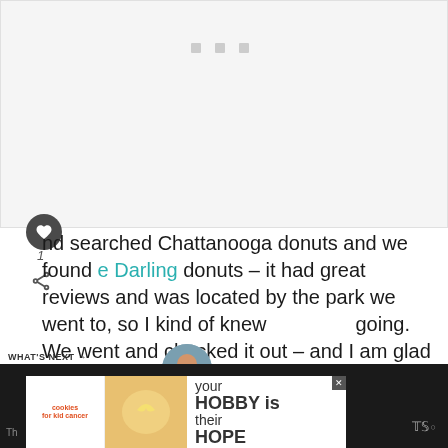[Figure (photo): Light gray placeholder image area at the top of the page, with three small gray squares visible near the top center]
nd searched Chattanooga donuts and we found e Darling donuts – it had great reviews and was located by the park we went to, so I kind of knew going. We went and checked it out – and I am glad we did!
[Figure (infographic): WHAT'S NEXT arrow label with 'The 36 Most Epic Things ...' text and a small circular thumbnail photo of a child]
[Figure (screenshot): Advertisement banner at the bottom showing 'cookies for kid cancer' logo, a heart-shaped cookie image, and text 'your HOBBY is their HOPE']